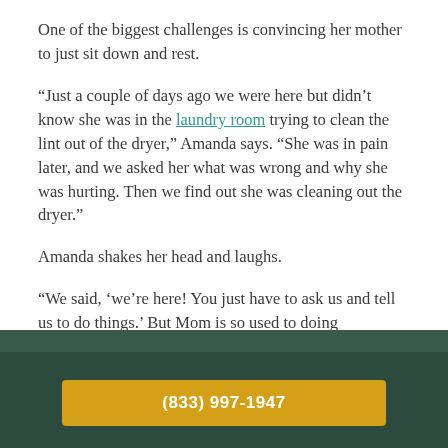One of the biggest challenges is convincing her mother to just sit down and rest.
“Just a couple of days ago we were here but didn’t know she was in the laundry room trying to clean the lint out of the dryer,” Amanda says. “She was in pain later, and we asked her what was wrong and why she was hurting. Then we find out she was cleaning out the dryer.”
Amanda shakes her head and laughs.
“We said, ‘we’re here! You just have to ask us and tell us to do things.’ But Mom is so used to doing everything herself. It’s hard for her and for us to delegate.”
[Figure (other): Dark green banner section with a gold/yellow phone number button showing (833) 997-1947]